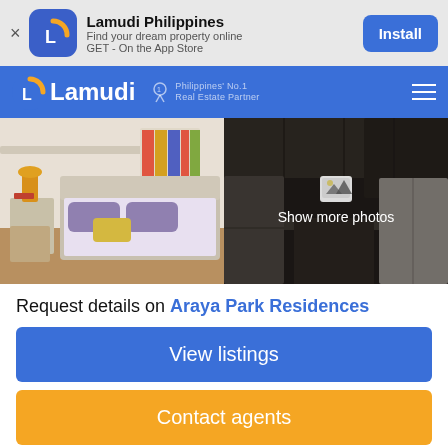[Figure (screenshot): Lamudi Philippines app install banner with app icon, name, description and Install button]
[Figure (logo): Lamudi navigation bar with logo, Philippines No.1 Real Estate Partner badge, and hamburger menu]
[Figure (photo): Two property photos side by side - bedroom on left, kitchen on right with Show more photos overlay]
Request details on Araya Park Residences
View listings
Contact agents